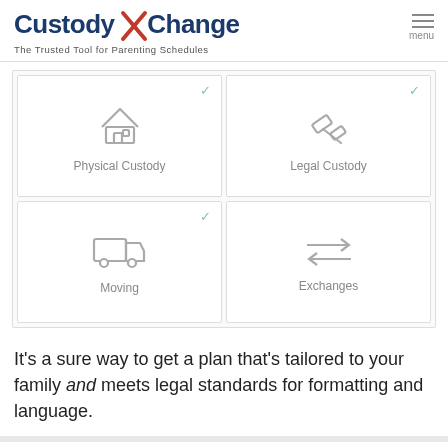[Figure (logo): CustodyXChange logo with orange X and tagline 'The Trusted Tool for Parenting Schedules']
[Figure (infographic): 2x2 grid of custody plan topic icons: Physical Custody (house icon), Legal Custody (gavel icon), Moving (truck icon), Exchanges (arrows icon). Physical Custody, Legal Custody, and Moving cells have teal checkmarks.]
It's a sure way to get a plan that's tailored to your family and meets legal standards for formatting and language.
Custody X Change is software that creates